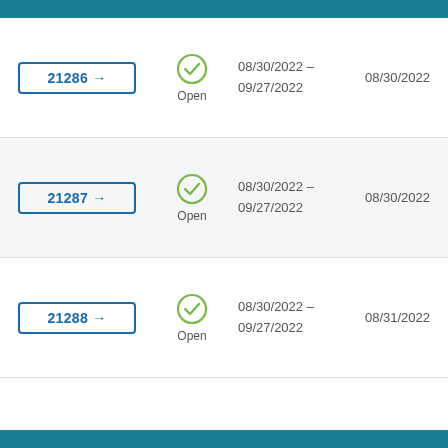| ID | Status | Date Range | Last Date |
| --- | --- | --- | --- |
| 21286 → | Open | 08/30/2022 - 09/27/2022 | 08/30/2022 |
| 21287 → | Open | 08/30/2022 - 09/27/2022 | 08/30/2022 |
| 21288 → | Open | 08/30/2022 - 09/27/2022 | 08/31/2022 |